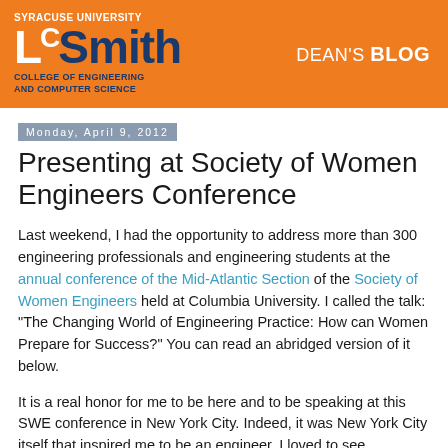[Figure (logo): Syracuse University LC Smith College of Engineering and Computer Science logo and Dean's Blog header on orange background]
Monday, April 9, 2012
Presenting at Society of Women Engineers Conference
Last weekend, I had the opportunity to address more than 300 engineering professionals and engineering students at the annual conference of the Mid-Atlantic Section of the Society of Women Engineers held at Columbia University. I called the talk: “The Changing World of Engineering Practice: How can Women Prepare for Success?” You can read an abridged version of it below.
It is a real honor for me to be here and to be speaking at this SWE conference in New York City. Indeed, it was New York City itself that inspired me to be an engineer. I loved to see